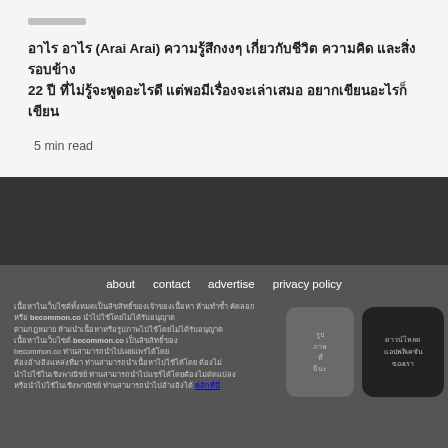อาไร อาไร (Arai Arai) ความรู้สึกงงๆ เกี่ยวกับชีวิต ความคิด และสิ่งรอบข้าง 22 ปี ที่ไม่รู้จะพูดอะไรดี แต่พอมีเรื่องจะเล่าเสมอ อยากเขียนอะไรก็เขียน
5 min read
about
contact
advertise
privacy policy
เนื้อหาในเว็บไซต์ becommon.co เป็นลิขสิทธิ์ของ becommon.co ท่านสามารถนำไปเผยแพร่ได้โดยต้องอ้างอิงแหล่งที่มา คลิก
[Figure (other): Rounded rectangle image box (medium gray)]
[Figure (other): Rounded rectangle dark box with Thai text]